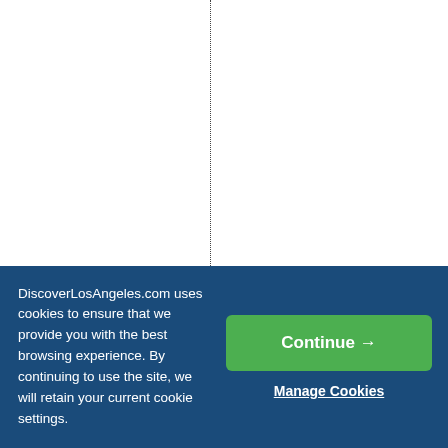2015 Discover Los An...
DiscoverLosAngeles.com uses cookies to ensure that we provide you with the best browsing experience. By continuing to use the site, we will retain your current cookie settings.
Continue →
Manage Cookies